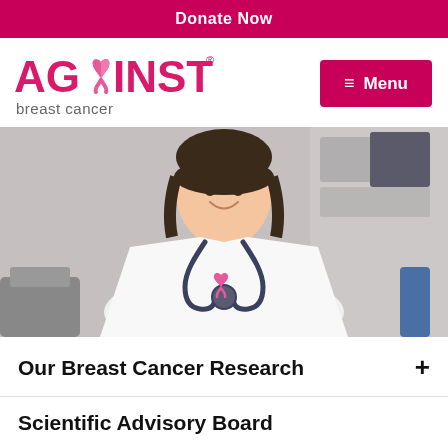Donate Now
[Figure (logo): Against Breast Cancer logo with pink ribbon replacing the 'A' in AGAINST, with subtitle 'breast cancer']
[Figure (photo): Female doctor in white lab coat with stethoscope and pink breast cancer awareness ribbon, arms crossed, smiling, in a medical setting]
Our Breast Cancer Research
Scientific Advisory Board